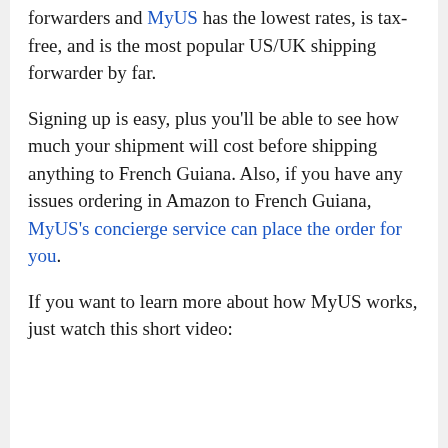forwarders and MyUS has the lowest rates, is tax-free, and is the most popular US/UK shipping forwarder by far.
Signing up is easy, plus you'll be able to see how much your shipment will cost before shipping anything to French Guiana. Also, if you have any issues ordering in Amazon to French Guiana, MyUS's concierge service can place the order for you.
If you want to learn more about how MyUS works, just watch this short video: